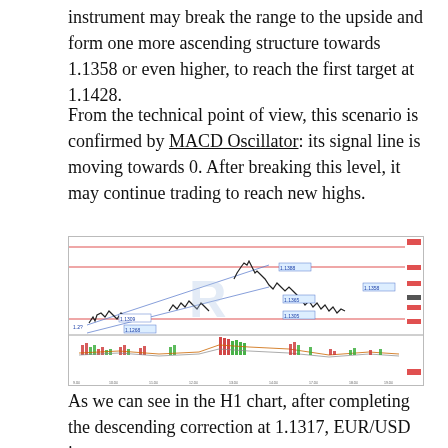instrument may break the range to the upside and form one more ascending structure towards 1.1358 or even higher, to reach the first target at 1.1428.
From the technical point of view, this scenario is confirmed by MACD Oscillator: its signal line is moving towards 0. After breaking this level, it may continue trading to reach new highs.
[Figure (continuous-plot): H1 EUR/USD candlestick chart with MACD oscillator panel below. Price chart shows ascending channel lines (blue diagonal lines), horizontal red support/resistance lines, candlestick price action with labeled levels: 1.1309, 1.1268, 1.1388, 1.1365, 1.1305, 1.1358. The lower panel shows MACD histogram bars in red and green with signal lines.]
As we can see in the H1 chart, after completing the descending correction at 1.1317, EUR/USD is